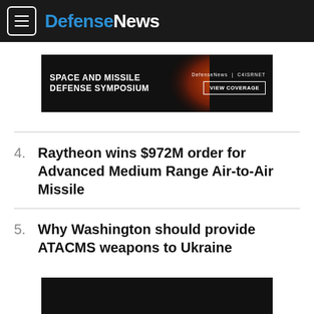DefenseNews
[Figure (photo): Defense News advertisement banner for Space and Missile Defense Symposium with orange arc graphic. Text: SPACE AND MISSILE DEFENSE SYMPOSIUM | DefenseNews | C4ISRNET | VIEW COVERAGE]
4. Raytheon wins $972M order for Advanced Medium Range Air-to-Air Missile
5. Why Washington should provide ATACMS weapons to Ukraine
[Figure (photo): Dark/black advertisement banner partially visible at bottom of page]